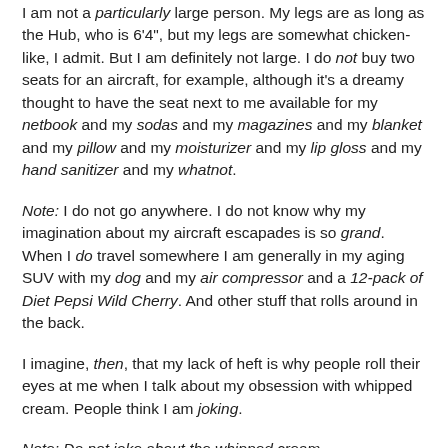I am not a particularly large person. My legs are as long as the Hub, who is 6'4", but my legs are somewhat chicken-like, I admit. But I am definitely not large. I do not buy two seats for an aircraft, for example, although it's a dreamy thought to have the seat next to me available for my netbook and my sodas and my magazines and my blanket and my pillow and my moisturizer and my lip gloss and my hand sanitizer and my whatnot.
Note: I do not go anywhere. I do not know why my imagination about my aircraft escapades is so grand. When I do travel somewhere I am generally in my aging SUV with my dog and my air compressor and a 12-pack of Diet Pepsi Wild Cherry. And other stuff that rolls around in the back.
I imagine, then, that my lack of heft is why people roll their eyes at me when I talk about my obsession with whipped cream. People think I am joking.
Note: Do not joke about the whipped cream.
To settle the matter I present the following photographic